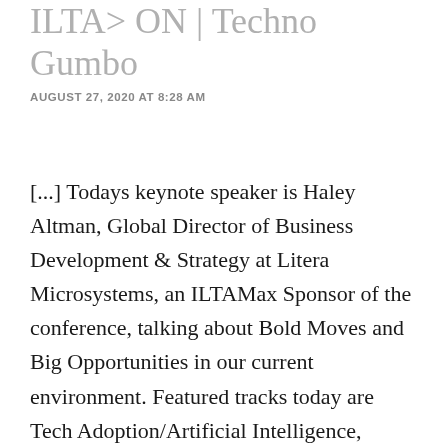ILTA> ON | Techno Gumbo
AUGUST 27, 2020 AT 8:28 AM
[...] Todays keynote speaker is Haley Altman, Global Director of Business Development & Strategy at Litera Microsystems, an ILTAMax Sponsor of the conference, talking about Bold Moves and Big Opportunities in our current environment. Featured tracks today are Tech Adoption/Artificial Intelligence, Applications and Finance (AM)/Info Governance (PM) and, as always, Doug Austin of eDiscovery Today, provides a